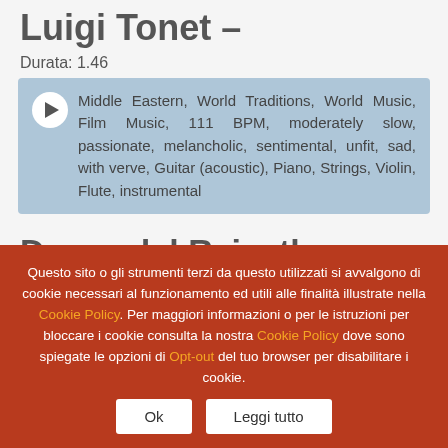Luigi Tonet –
Durata: 1.46
Middle Eastern, World Traditions, World Music, Film Music, 111 BPM, moderately slow, passionate, melancholic, sentimental, unfit, sad, with verve, Guitar (acoustic), Piano, Strings, Violin, Flute, instrumental
Danza del Rajasthan – Francesco Landucci
Questo sito o gli strumenti terzi da questo utilizzati si avvalgono di cookie necessari al funzionamento ed utili alle finalità illustrate nella Cookie Policy. Per maggiori informazioni o per le istruzioni per bloccare i cookie consulta la nostra Cookie Policy dove sono spiegate le opzioni di Opt-out del tuo browser per disabilitare i cookie.
Ok
Leggi tutto